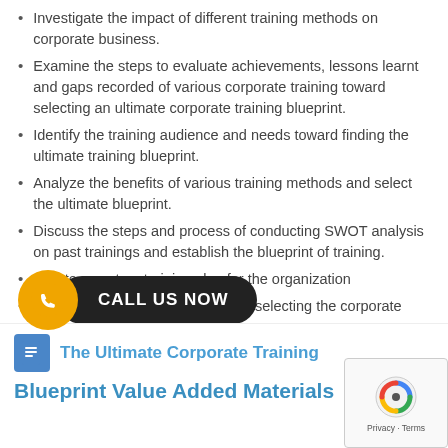Investigate the impact of different training methods on corporate business.
Examine the steps to evaluate achievements, lessons learnt and gaps recorded of various corporate training toward selecting an ultimate corporate training blueprint.
Identify the training audience and needs toward finding the ultimate training blueprint.
Analyze the benefits of various training methods and select the ultimate blueprint.
Discuss the steps and process of conducting SWOT analysis on past trainings and establish the blueprint of training.
Create a custom training plan for the organization
Evaluate factors to consider when selecting the corporate training ultimate blueprint
[Figure (infographic): Call Us Now button with WhatsApp phone icon in orange circle and dark pill-shaped button]
The Ultimate Corporate Training Blueprint Value Added Materials